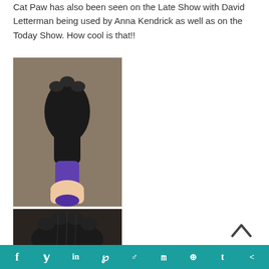Cat Paw has also been seen on the Late Show with David Letterman being used by Anna Kendrick as well as on the Today Show. How cool is that!!
[Figure (photo): Photo of a black furry cat paw prop attached to a purple handle, held by a hand.]
[Figure (photo): Close-up photo of a black furry cat paw prop.]
f  y  in  P  reddit  m  whatsapp  t  share